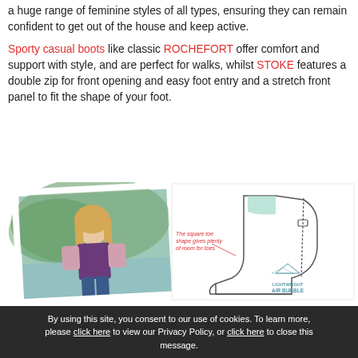a huge range of feminine styles of all types, ensuring they can remain confident to get out of the house and keep active.
Sporty casual boots like classic ROCHEFORT offer comfort and support with style, and are perfect for walks, whilst STOKE features a double zip for front opening and easy foot entry and a stretch front panel to fit the shape of your foot.
[Figure (photo): Left: polaroid-style photo of a woman with blonde hair wearing a purple vest and floral shirt, outdoors near water. Right: product sketch/diagram of a boot with annotation text 'The square toe shape gives plenty of room for toes' and 'LIGHTWEIGHT AIR BUBBLE' label.]
By using this site, you consent to our use of cookies. To learn more, please click here to view our Privacy Policy, or click here to close this message.